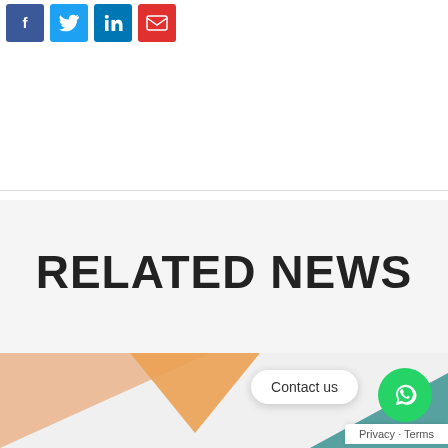[Figure (other): Four social media share buttons: Facebook (blue), Twitter (light blue), LinkedIn (blue), Email (red)]
RELATED NEWS
[Figure (illustration): Partial view of a news card with orange and teal geometric shapes on a light grey background]
Contact us
Privacy - Terms